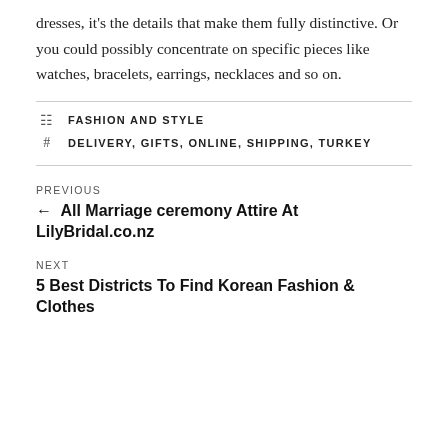dresses, it's the details that make them fully distinctive. Or you could possibly concentrate on specific pieces like watches, bracelets, earrings, necklaces and so on.
FASHION AND STYLE
DELIVERY, GIFTS, ONLINE, SHIPPING, TURKEY
PREVIOUS
← All Marriage ceremony Attire At LilyBridal.co.nz
NEXT
5 Best Districts To Find Korean Fashion & Clothes